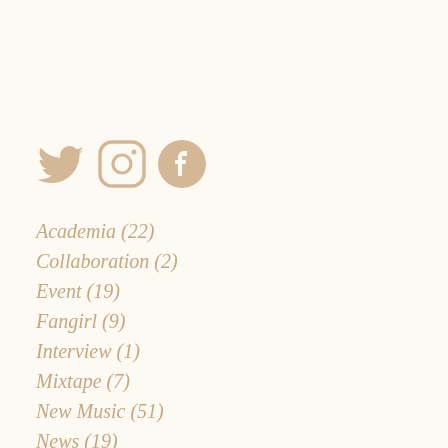[Figure (other): Three social media icons (Twitter bird, Instagram camera, Facebook circle) in a warm beige/tan color]
Academia (22)
Collaboration (2)
Event (19)
Fangirl (9)
Interview (1)
Mixtape (7)
New Music (51)
News (19)
Personal (23)
Podcast (4)